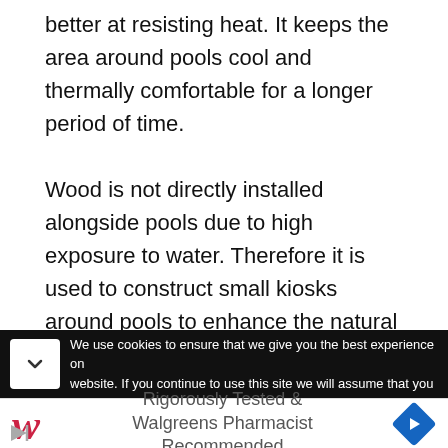better at resisting heat. It keeps the area around pools cool and thermally comfortable for a longer period of time.

Wood is not directly installed alongside pools due to high exposure to water. Therefore it is used to construct small kiosks around pools to enhance the natural demeanor of any poolside landscape design. Wooden patios, fences, gazebos, and railing are some of the many landscape iterations which involve wood as the signature construction material to add
We use cookies to ensure that we give you the best experience on website. If you continue to use this site we will assume that you
Rigorously Tested & Walgreens Pharmacist Recommended